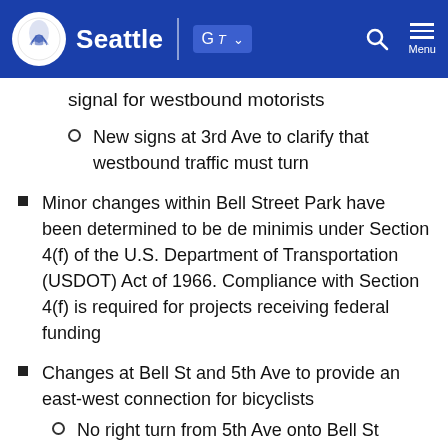Seattle
signal for westbound motorists
New signs at 3rd Ave to clarify that westbound traffic must turn
Minor changes within Bell Street Park have been determined to be de minimis under Section 4(f) of the U.S. Department of Transportation (USDOT) Act of 1966. Compliance with Section 4(f) is required for projects receiving federal funding
Changes at Bell St and 5th Ave to provide an east-west connection for bicyclists
No right turn from 5th Ave onto Bell St
New bike crossing ramp and signal